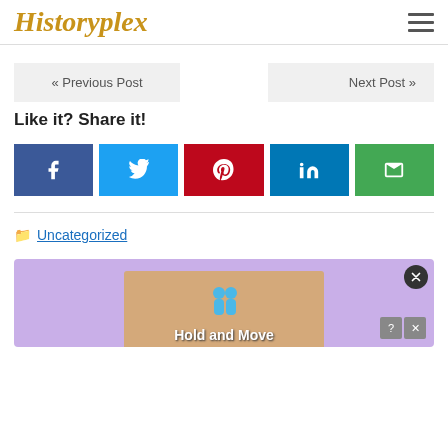Historyplex
« Previous Post
Next Post »
Like it? Share it!
[Figure (infographic): Social share buttons: Facebook (f), Twitter (bird), Pinterest (p), LinkedIn (in), Email (envelope)]
Uncategorized
[Figure (screenshot): Advertisement banner with purple background showing a mobile game 'Hold and Move' with cartoon figures and close/help buttons]